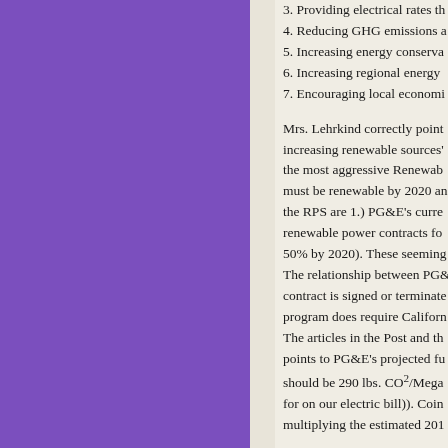[Figure (other): Purple sidebar panel on the left side of the page]
3. Providing electrical rates th...
4. Reducing GHG emissions a...
5. Increasing energy conserva...
6. Increasing regional energy ...
7. Encouraging local economi...
Mrs. Lehrkind correctly point... increasing renewable sources'... the most aggressive Renewab... must be renewable by 2020 an... the RPS are 1.) PG&E's curre... renewable power contracts fo... 50% by 2020). These seeming... The relationship between PG&... contract is signed or terminate... program does require Californ... The articles in the Post and th... points to PG&E's projected fu... should be 290 lbs. CO²/Mega... for on our electric bill)). Coin... multiplying the estimated 201...